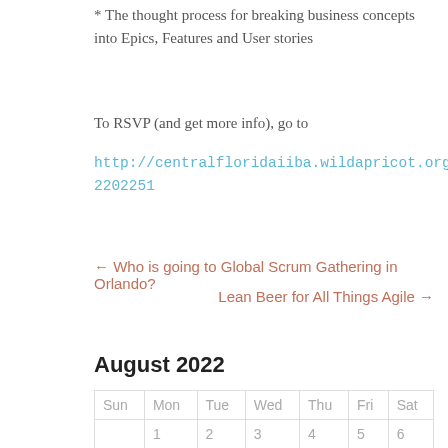* The thought process for breaking business concepts into Epics, Features and User stories
To RSVP (and get more info), go to http://centralfloridaiiba.wildapricot.org/event-2202251
← Who is going to Global Scrum Gathering in Orlando?
Lean Beer for All Things Agile →
August 2022
| Sun | Mon | Tue | Wed | Thu | Fri | Sat |
| --- | --- | --- | --- | --- | --- | --- |
|  | 1 | 2 | 3 | 4 | 5 | 6 |
| 7 | 8 | 9 | 10 | 11 | 12 | 13 |
|  |  |  |  |  |  |  |